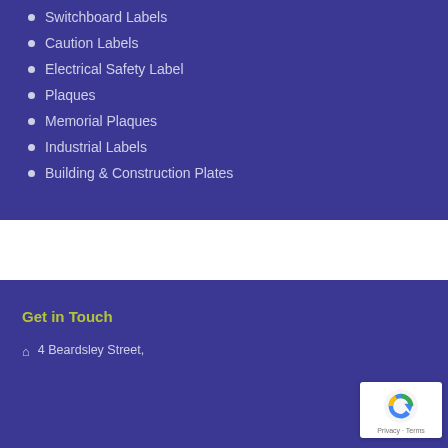Switchboard Labels
Caution Labels
Electrical Safety Label
Plaques
Memorial Plaques
Industrial Labels
Building & Construction Plates
Get in Touch
4 Beardsley Street,